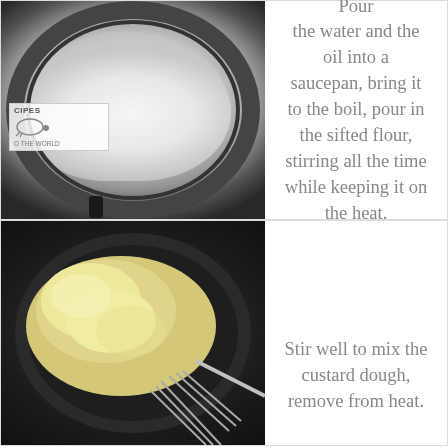[Figure (photo): Photo of flour poured into a dark non-stick saucepan, viewed from above. A watermark logo reading CIPES / O THE WORLD is visible in the lower left corner of the photo.]
Pour the water and the oil into a saucepan, bring it to the boil, pour in the sifted flour, stirring all the time while keeping it on the heat.
[Figure (photo): Photo of custard dough being mixed in a dark bowl with a metal whisk, viewed from above.]
Stir well to mix the custard dough, remove from heat.